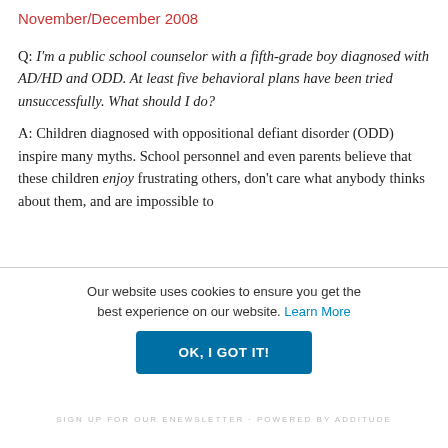November/December 2008
Q: I'm a public school counselor with a fifth-grade boy diagnosed with AD/HD and ODD. At least five behavioral plans have been tried unsuccessfully. What should I do?
A: Children diagnosed with oppositional defiant disorder (ODD) inspire many myths. School personnel and even parents believe that these children enjoy frustrating others, don't care what anybody thinks about them, and are impossible to
Our website uses cookies to ensure you get the best experience on our website. Learn More
OK, I GOT IT!